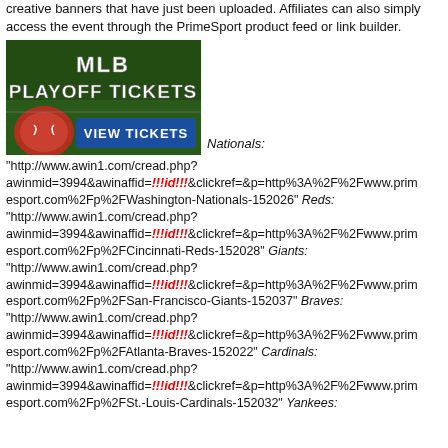creative banners that have just been uploaded. Affiliates can also simply access the event through the PrimeSport product feed or link builder.
[Figure (illustration): MLB Playoff Tickets banner ad with green background, white bold text 'MLB PLAYOFF TICKETS', baseball imagery, and a blue 'VIEW TICKETS' button.]
Nationals: "http://www.awin1.com/cread.php?awinmid=3994&awinaffid=!!!id!!!&clickref=&p=http%3A%2F%2Fwww.primesport.com%2Fp%2FWashington-Nationals-152026" Reds: "http://www.awin1.com/cread.php?awinmid=3994&awinaffid=!!!id!!!&clickref=&p=http%3A%2F%2Fwww.primesport.com%2Fp%2FCincinnati-Reds-152028" Giants: "http://www.awin1.com/cread.php?awinmid=3994&awinaffid=!!!id!!!&clickref=&p=http%3A%2F%2Fwww.primesport.com%2Fp%2FSan-Francisco-Giants-152037" Braves: "http://www.awin1.com/cread.php?awinmid=3994&awinaffid=!!!id!!!&clickref=&p=http%3A%2F%2Fwww.primesport.com%2Fp%2FAtlanta-Braves-152022" Cardinals: "http://www.awin1.com/cread.php?awinmid=3994&awinaffid=!!!id!!!&clickref=&p=http%3A%2F%2Fwww.primesport.com%2Fp%2FSt.-Louis-Cardinals-152032" Yankees: